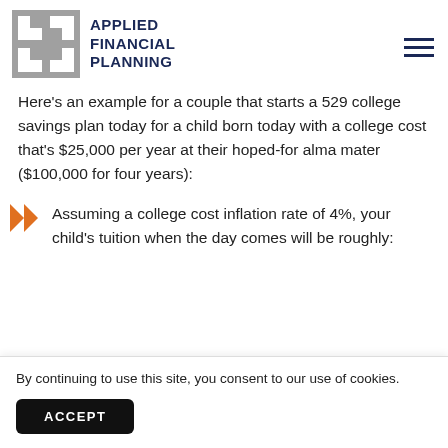APPLIED FINANCIAL PLANNING
Here's an example for a couple that starts a 529 college savings plan today for a child born today with a college cost that's $25,000 per year at their hoped-for alma mater ($100,000 for four years):
Assuming a college cost inflation rate of 4%, your child's tuition when the day comes will be roughly:
By continuing to use this site, you consent to our use of cookies.